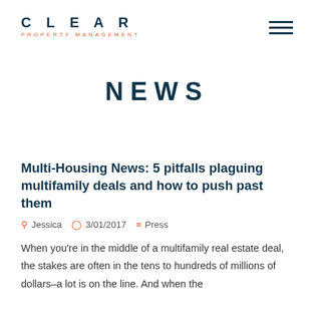[Figure (logo): CLEAR PROPERTY MANAGEMENT logo in dark navy and orange]
NEWS
Multi-Housing News: 5 pitfalls plaguing multifamily deals and how to push past them
Jessica  3/01/2017  Press
When you're in the middle of a multifamily real estate deal, the stakes are often in the tens to hundreds of millions of dollars–a lot is on the line. And when the